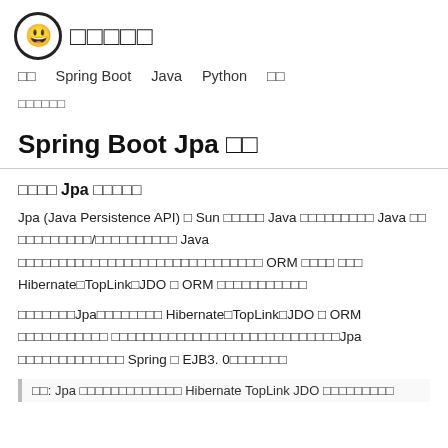☺ □□□□□
□□  Spring Boot  Java  Python  □□
□□□□□□
Spring Boot Jpa □□
□□□□ Jpa □□□□□
Jpa (Java Persistence API) □ Sun □□□□□ Java □□□□□□□□□ Java □□ □□□□□□□□□/□□□□□□□□□□ Java □□□□□□□□□□□□□□□□□□□□□□□□□□□□□□ ORM □□□□ □□□ Hibernate□TopLink□JDO □ ORM □□□□□□□□□□□
□□□□□□□Jpa□□□□□□□□ Hibernate□TopLink□JDO □ ORM □□□□□□□□□□□ □□□□□□□□□□□□□□□□□□□□□□□□□□□□Jpa □□□□□□□□□□□□□ Spring □ EJB3. 0□□□□□□□
□□: Jpa □□□□□□□□□□□□□ Hibernate TopLink JDO □□□□□□□□□